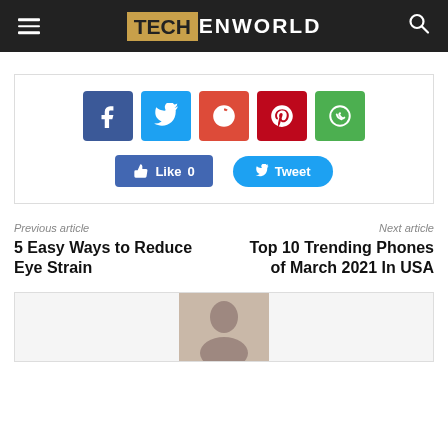TECHENWORLD
[Figure (screenshot): Social sharing buttons: Facebook, Twitter, Google+, Pinterest, WhatsApp icons, with Like 0 and Tweet buttons]
Previous article
5 Easy Ways to Reduce Eye Strain
Next article
Top 10 Trending Phones of March 2021 In USA
[Figure (photo): Author photo placeholder]